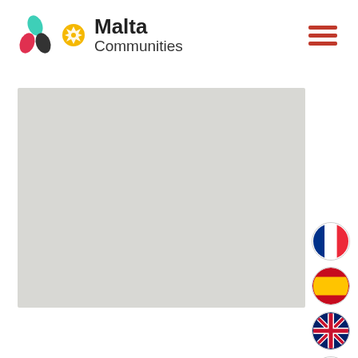[Figure (logo): Malta Communities logo with colorful leaf/flower icon, Maltese cross symbol, and bold text reading Malta Communities]
[Figure (other): Hamburger menu icon with three horizontal red bars]
[Figure (map): Light grey rectangular map placeholder area]
[Figure (infographic): Vertical column of five circular flag icons: French flag, Spanish flag, UK flag, Italian flag, Brazilian flag]